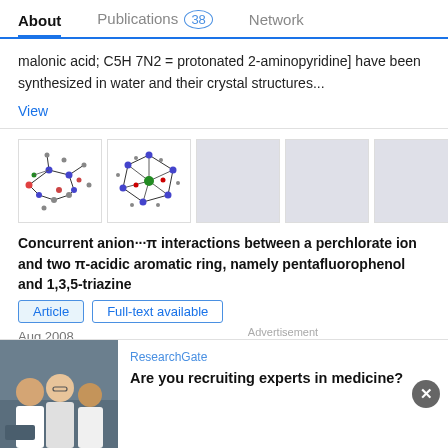About    Publications 38    Network
malonic acid; C5H 7N2 = protonated 2-aminopyridine] have been synthesized in water and their crystal structures...
View
[Figure (illustration): Two molecular structure diagrams showing crystal structures with colored atoms and bonds]
Concurrent anion···π interactions between a perchlorate ion and two π-acidic aromatic ring, namely pentafluorophenol and 1,3,5-triazine
Article    Full-text available
Aug 2008
Rens J Götz · Arturo Robertazzi · Ilbo Mutikainen ·
[Figure (photo): Advertisement photo showing group of scientists/researchers in lab coats]
ResearchGate
Are you recruiting experts in medicine?